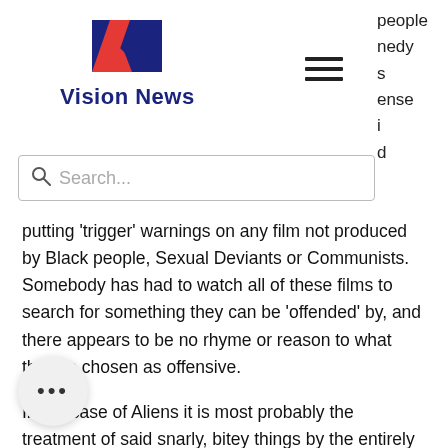[Figure (logo): Vision News logo with stylized red and blue N letter mark above bold 'Vision News' text]
people
nedy
s
ense
i
d
[Figure (other): Hamburger menu icon (three horizontal lines)]
[Figure (other): Search bar with magnifying glass icon and placeholder text 'Search...']
putting ‘trigger’ warnings on any film not produced by Black people, Sexual Deviants or Communists.  Somebody has had to watch all of these films to search for something they can be ‘offended’ by, and there appears to be no rhyme or reason to what they’ve chosen as offensive.
In the case of Aliens it is most probably the treatment of said snarly, bitey things by the entirely white invaders, who land on a r     to colonise it in exactly the same way     white men did in America. (The racist Bastards) The Aliens, though not illegal, are